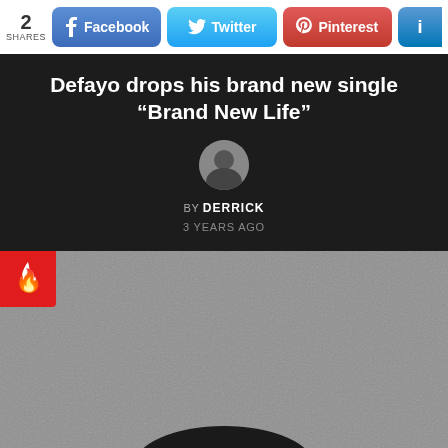2 SHARES | Facebook | Twitter | Pinterest | LinkedIn
Defayo drops his brand new single “Brand New Life”
BY DERRICK
3 YEARS AGO
[Figure (photo): A photo of a person (likely Defayo) against a grey textured background, with a red fire badge in the top-left corner]